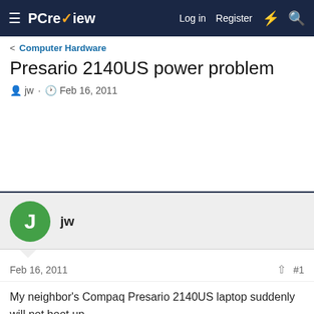PC review — Log in  Register
Computer Hardware
Presario 2140US power problem
jw · Feb 16, 2011
jw
Feb 16, 2011  #1
My neighbor's Compaq Presario 2140US laptop suddenly will not boot up or light the screen. With his HP 75W AC adapter connected to